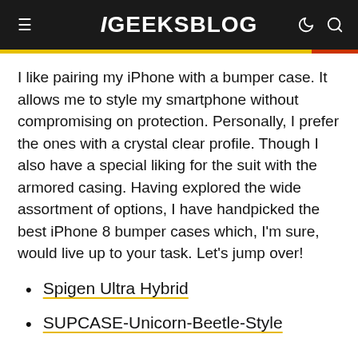iGEEKSBLOG
I like pairing my iPhone with a bumper case. It allows me to style my smartphone without compromising on protection. Personally, I prefer the ones with a crystal clear profile. Though I also have a special liking for the suit with the armored casing. Having explored the wide assortment of options, I have handpicked the best iPhone 8 bumper cases which, I'm sure, would live up to your task. Let's jump over!
Spigen Ultra Hybrid
SUPCASE-Unicorn-Beetle-Style